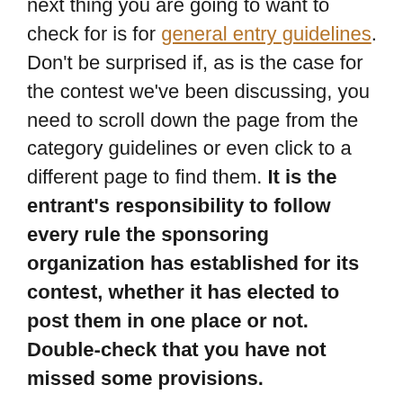next thing you are going to want to check for is for general entry guidelines. Don't be surprised if, as is the case for the contest we've been discussing, you need to scroll down the page from the category guidelines or even click to a different page to find them. It is the entrant's responsibility to follow every rule the sponsoring organization has established for its contest, whether it has elected to post them in one place or not. Double-check that you have not missed some provisions.

Oh, I hear some of you